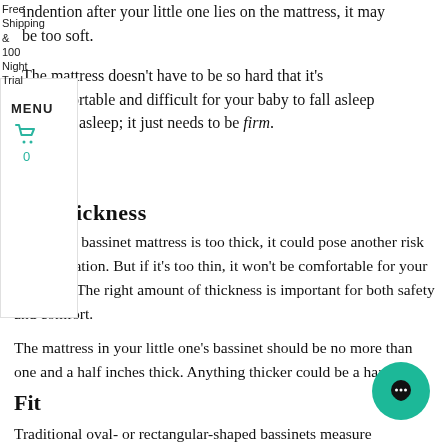indention after your little one lies on the mattress, it may be too soft.
Free Shipping & 100 Night Trial
MENU
0
Thickness
our baby's bassinet mattress is too thick, it could pose another risk for suffocation. But if it's too thin, it won't be comfortable for your little one. The right amount of thickness is important for both safety and comfort.
The mattress in your little one's bassinet should be no more than one and a half inches thick. Anything thicker could be a hazard.
Fit
Traditional oval- or rectangular-shaped bassinets measure